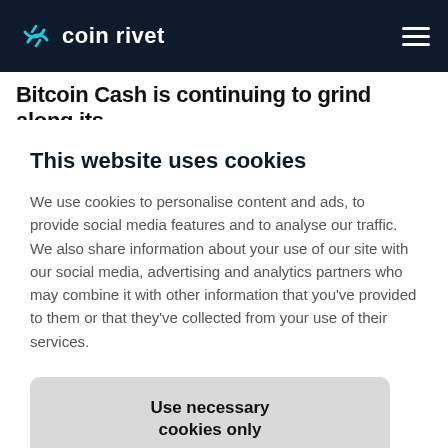coin rivet
Bitcoin Cash is continuing to grind along its
This website uses cookies
We use cookies to personalise content and ads, to provide social media features and to analyse our traffic. We also share information about your use of our site with our social media, advertising and analytics partners who may combine it with other information that you've provided to them or that they've collected from your use of their services.
Use necessary cookies only
Allow selection
Allow all cookies